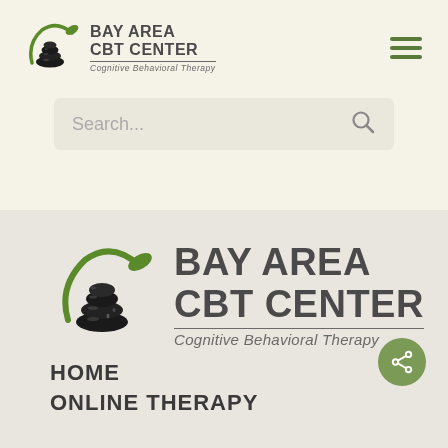[Figure (logo): Bay Area CBT Center logo with stacked black stones and green leaf/circle, small version in header]
[Figure (screenshot): Hamburger menu icon (three green horizontal lines) in top-right corner]
[Figure (screenshot): Search bar with placeholder text 'Search...' and magnifying glass icon]
[Figure (logo): Bay Area CBT Center logo with stacked black stones and green leaf/circle, large version in main content area]
[Figure (screenshot): Green circular share button with share icon]
HOME
ONLINE THERAPY